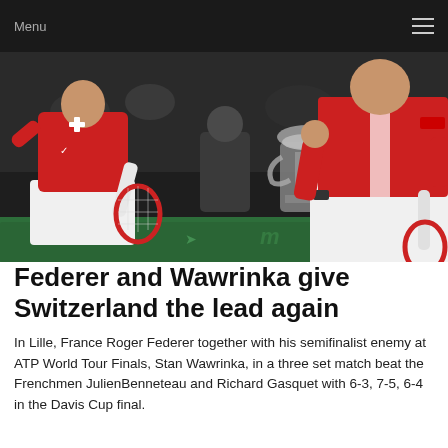Menu
[Figure (photo): Two Swiss tennis players in red shirts celebrating on court, with the Davis Cup trophy visible in the background. The player on the left is wearing a Nike red shirt and white shorts, holding a tennis racket. The player on the right is also in red and white, holding a racket.]
Federer and Wawrinka give Switzerland the lead again
In Lille, France Roger Federer together with his semifinalist enemy at ATP World Tour Finals, Stan Wawrinka, in a three set match beat the Frenchmen JulienBenneteau and Richard Gasquet with 6-3, 7-5, 6-4 in the Davis Cup final.